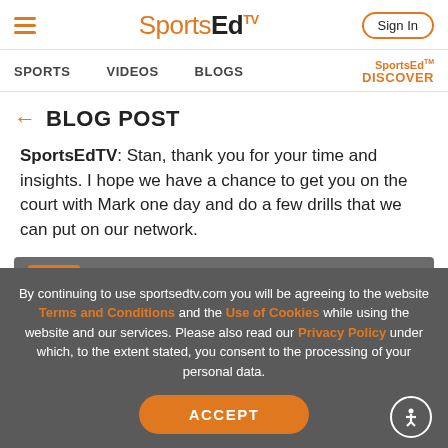SportsEdTV — Sign In
SPORTS   VIDEOS   BLOGS   SportsEd™ TV DISCOVER
← BLOG POST
SportsEdTV: Stan, thank you for your time and insights. I hope we have a chance to get you on the court with Mark one day and do a few drills that we can put on our network.
sportsedtv
By continuing to use sportsedtv.com you will be agreeing to the website Terms and Conditions and the Use of Cookies while using the website and our services. Please also read our Privacy Policy under which, to the extent stated, you consent to the processing of your personal data.
ACCEPT